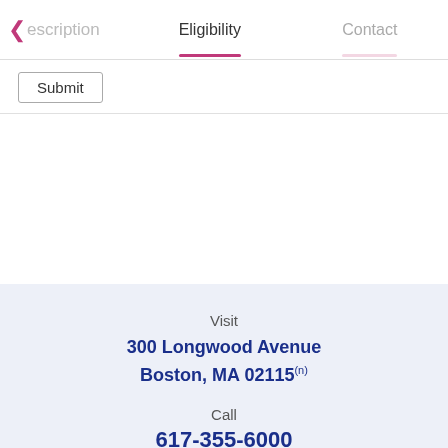escription   Eligibility   Contact
Submit
Visit
300 Longwood Avenue
Boston, MA 02115
Call
617-355-6000
Follow